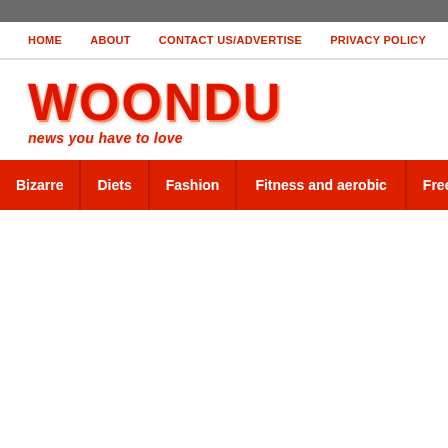HOME   ABOUT   CONTACT US/ADVERTISE   PRIVACY POLICY
[Figure (logo): WOONDU logo with tagline 'news you have to love' in red bubble-style lettering]
Bizarre   Diets   Fashion   Fitness and aerobic   Free Wallpa...